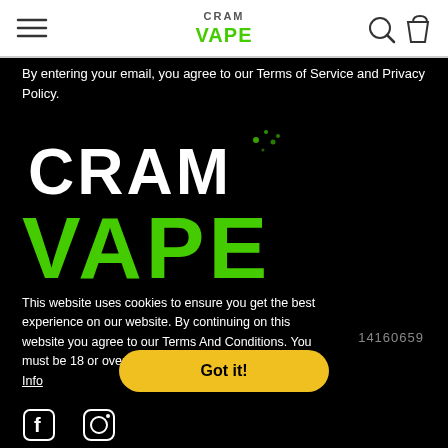[Figure (logo): Cram Vape logo in header — white background header with hamburger menu, centered Cram Vape logo, search and bag icons]
By entering your email, you agree to our Terms of Service and Privacy Policy.
[Figure (logo): Large Cram Vape logo — CRAM in white block letters, VAPE in large green distressed letters]
This website uses cookies to ensure you get the best experience on our website. By continuing on this website you agree to our Terms And Conditions. You must be 18 or over to purchase from this store. More Info
14160659
Got it!
[Figure (logo): Facebook and Instagram social media icons at the bottom]